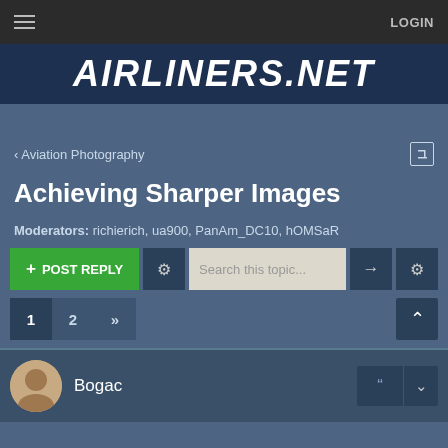≡  LOGIN
[Figure (logo): AIRLINERS.NET logo in italic white bold text on dark blue background]
< Aviation Photography
Achieving Sharper Images
Moderators: richierich, ua900, PanAm_DC10, hOMSaR
+ POST REPLY  [gear]  Search this topic...  [arrow]  [gear]
1  2  »
Bogac